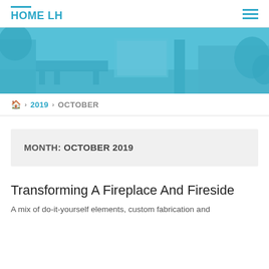HOME LH
[Figure (photo): Blue-tinted hero image of a home interior/exterior space showing furniture, brick wall, and plants]
🏠 > 2019 > OCTOBER
MONTH: OCTOBER 2019
Transforming A Fireplace And Fireside
A mix of do-it-yourself elements, custom fabrication and